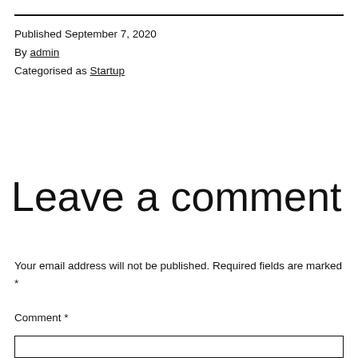Published September 7, 2020
By admin
Categorised as Startup
Leave a comment
Your email address will not be published. Required fields are marked *
Comment *